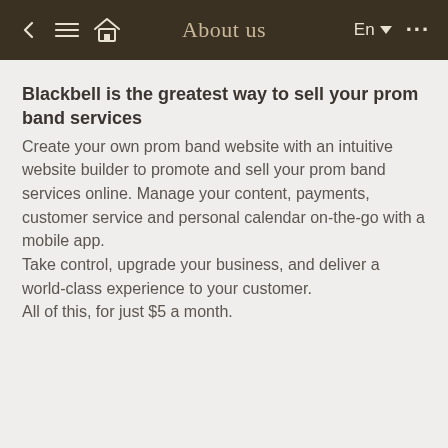About us
Blackbell is the greatest way to sell your prom band services
Create your own prom band website with an intuitive website builder to promote and sell your prom band services online. Manage your content, payments, customer service and personal calendar on-the-go with a mobile app.
Take control, upgrade your business, and deliver a world-class experience to your customer.
All of this, for just $5 a month.